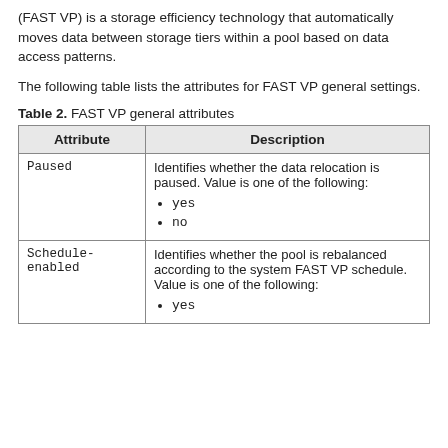(FAST VP) is a storage efficiency technology that automatically moves data between storage tiers within a pool based on data access patterns.
The following table lists the attributes for FAST VP general settings.
Table 2. FAST VP general attributes
| Attribute | Description |
| --- | --- |
| Paused | Identifies whether the data relocation is paused. Value is one of the following:
• yes
• no |
| Schedule-enabled | Identifies whether the pool is rebalanced according to the system FAST VP schedule. Value is one of the following:
• yes |